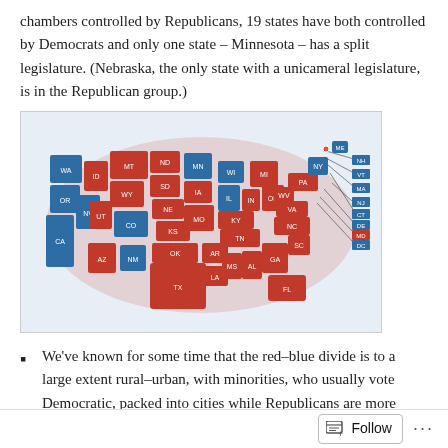chambers controlled by Republicans, 19 states have both controlled by Democrats and only one state – Minnesota – has a split legislature. (Nebraska, the only state with a unicameral legislature, is in the Republican group.)
[Figure (map): A US state map colored red for Republican-controlled legislatures and blue for Democrat-controlled legislatures. Most states are red, with blue states in the West (WA, OR, CA, NV, CO, NM) and Northeast, plus some others.]
We've known for some time that the red–blue divide is to a large extent rural–urban, with minorities, who usually vote Democratic, packed into cities while Republicans are more evenly spread out and thus dominate the rural areas.
Follow ···